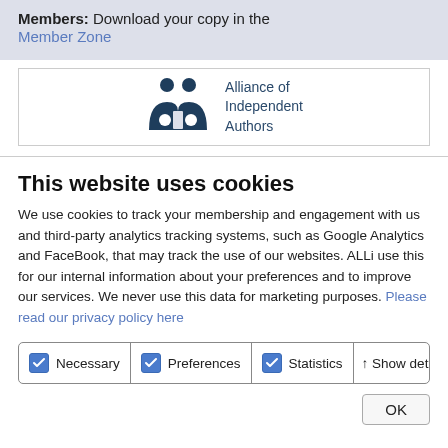Members: Download your copy in the Member Zone
[Figure (logo): Alliance of Independent Authors logo with two figures and open book icon]
This website uses cookies
We use cookies to track your membership and engagement with us and third-party analytics tracking systems, such as Google Analytics and FaceBook, that may track the use of our websites. ALLi use this for our internal information about your preferences and to improve our services. We never use this data for marketing purposes. Please read our privacy policy here
Necessary Preferences Statistics ↑ Show details
OK